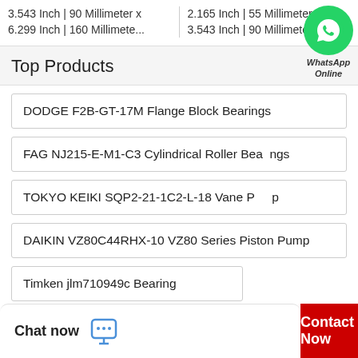3.543 Inch | 90 Millimeter x 6.299 Inch | 160 Millimete...
2.165 Inch | 55 Millimeter x 3.543 Inch | 90 Millimete...
Top Products
DODGE F2B-GT-17M Flange Block Bearings
FAG NJ215-E-M1-C3 Cylindrical Roller Bearings
TOKYO KEIKI SQP2-21-1C2-L-18 Vane Pump
DAIKIN VZ80C44RHX-10 VZ80 Series Piston Pump
Timken jlm710949c Bearing
[Figure (other): WhatsApp Online contact bubble with green circle icon and text 'WhatsApp Online']
Chat now
Contact Now